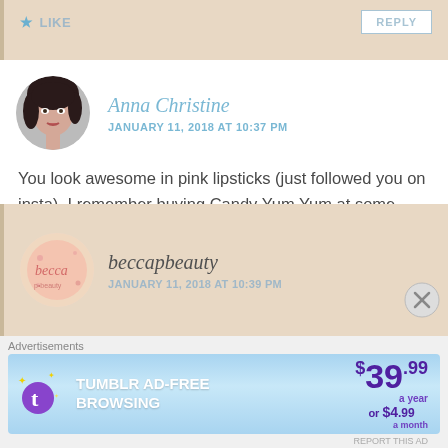LIKE   REPLY
Anna Christine
JANUARY 11, 2018 AT 10:37 PM
You look awesome in pink lipsticks (just followed you on insta). I remember buying Candy Yum Yum at some point but giving it away because I thought it was too Barbie on me. Now I wish I didn't! But pink is definitely your color. ❤
Liked by 1 person   REPLY
beccapbeauty
JANUARY 11, 2018 AT 10:39 PM
Advertisements
[Figure (infographic): Tumblr Ad-Free Browsing advertisement banner: $39.99 a year or $4.99 a month]